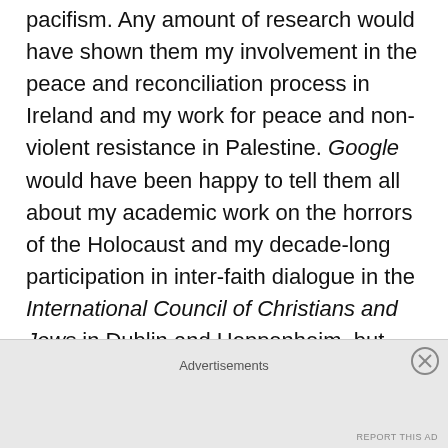pacifism. Any amount of research would have shown them my involvement in the peace and reconciliation process in Ireland and my work for peace and non-violent resistance in Palestine. Google would have been happy to tell them all about my academic work on the horrors of the Holocaust and my decade-long participation in inter-faith dialogue in the International Council of Christians and Jews in Dublin and Heppenheim, but these reporters and their unionist papers were never interested in the truth.
Advertisements